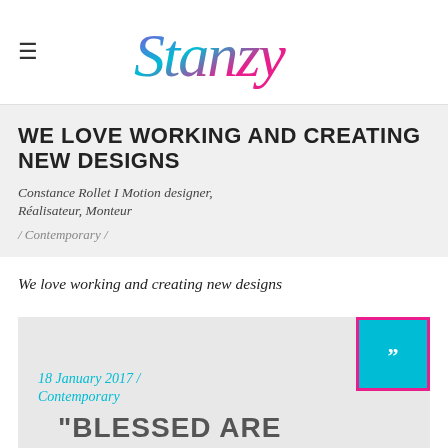Stanzy
WE LOVE WORKING AND CREATING NEW DESIGNS
Constance Rollet I Motion designer, Réalisateur, Monteur
/ Contemporary /
We love working and creating new designs
[Figure (other): Quote card block with cyan and magenta quote box icon, date '18 January 2017 / Contemporary' in cyan italic, and large uppercase gray text starting with '"BLESSED ARE']
18 January 2017 / Contemporary
"BLESSED ARE